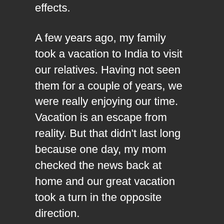effects.
A few years ago, my family took a vacation to India to visit our relatives. Having not seen them for a couple of years, we were really enjoying our time. Vacation is an escape from reality. But that didn't last long because one day, my mom checked the news back at home and our great vacation took a turn in the opposite direction.
It had been announced that there was very heavy rain for a couple of days and basements were flooding. We asked our friend to check on our basement, and just as we had feared, our basement was submerged under 2 feet of water.
When we got home, everything was destroyed – carpet, books, electronics. It was a costly and tiresome experience that is all too common nowadays. I fear that from here, unless we make more of an effort to slow